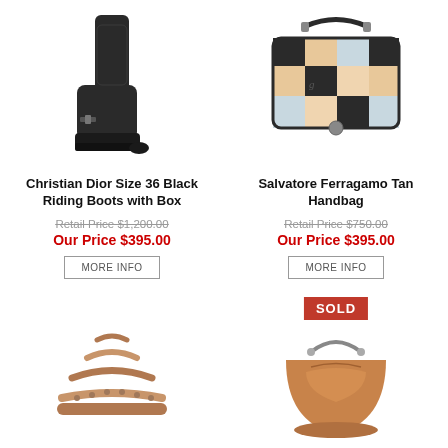[Figure (photo): Christian Dior black tall riding boots on white background]
Christian Dior Size 36 Black Riding Boots with Box
Retail Price $1,200.00
Our Price $395.00
[Figure (photo): Salvatore Ferragamo tan patchwork handbag on white background]
Salvatore Ferragamo Tan Handbag
Retail Price $750.00
Our Price $395.00
[Figure (photo): Rose gold strappy sandals on white background]
[Figure (photo): Bronze/gold handbag with chain strap — marked SOLD]